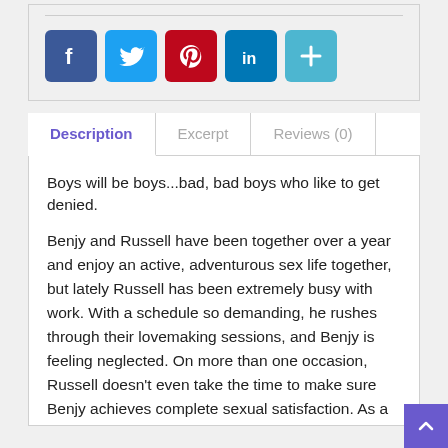[Figure (infographic): Social sharing icons: Facebook (blue), Twitter (light blue), Pinterest (red), LinkedIn (blue), More/Plus (teal)]
Description	Excerpt	Reviews (0)
Boys will be boys...bad, bad boys who like to get denied.
Benjy and Russell have been together over a year and enjoy an active, adventurous sex life together, but lately Russell has been extremely busy with work. With a schedule so demanding, he rushes through their lovemaking sessions, and Benjy is feeling neglected. On more than one occasion, Russell doesn't even take the time to make sure Benjy achieves complete sexual satisfaction. As a result, Benjy decides to take matters into his own hands and concocts a plan to both exact his revenge and teach his lover a valuable lesson. In the process, they experience the most explosive, memorable lovemaking experience of their lives